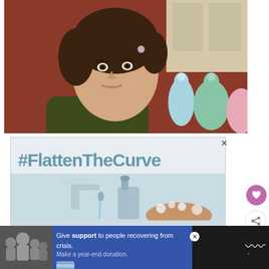[Figure (photo): Young woman with dark curly hair in olive green top, seated in front of a red sofa with decorative figurines in background]
[Figure (infographic): #FlattenTheCurve advertisement showing a faucet and person washing hands with soap]
[Figure (infographic): Advertisement showing a family and text: Give support to people recovering from crisis. Make a year-end donation.]